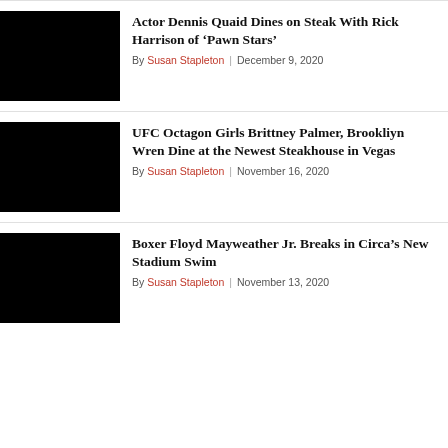Actor Dennis Quaid Dines on Steak With Rick Harrison of ‘Pawn Stars’
By Susan Stapleton | December 9, 2020
UFC Octagon Girls Brittney Palmer, Brookliyn Wren Dine at the Newest Steakhouse in Vegas
By Susan Stapleton | November 16, 2020
Boxer Floyd Mayweather Jr. Breaks in Circa’s New Stadium Swim
By Susan Stapleton | November 13, 2020